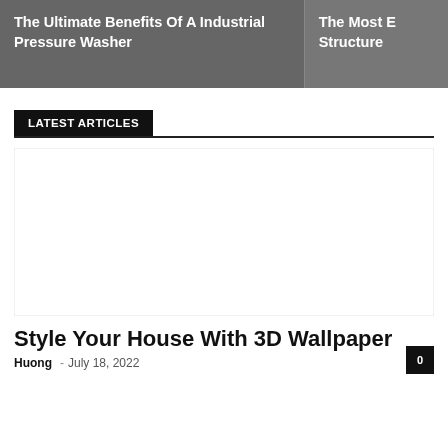The Ultimate Benefits Of A Industrial Pressure Washer
The Most E Structure
LATEST ARTICLES
[Figure (photo): Blank/white image placeholder for article thumbnail]
Style Your House With 3D Wallpaper
Huong - July 18, 2022  0